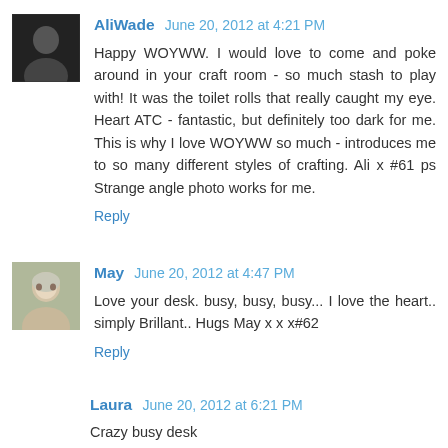[Figure (photo): Avatar photo of AliWade, dark silhouette image]
AliWade June 20, 2012 at 4:21 PM
Happy WOYWW. I would love to come and poke around in your craft room - so much stash to play with! It was the toilet rolls that really caught my eye. Heart ATC - fantastic, but definitely too dark for me. This is why I love WOYWW so much - introduces me to so many different styles of crafting. Ali x #61 ps Strange angle photo works for me.
Reply
[Figure (photo): Avatar photo of May, elderly woman with short grey hair]
May June 20, 2012 at 4:47 PM
Love your desk. busy, busy, busy... I love the heart.. simply Brillant.. Hugs May x x x#62
Reply
Laura June 20, 2012 at 6:21 PM
Crazy busy desk
Reply